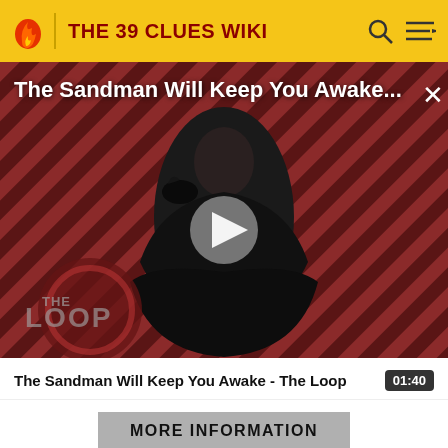THE 39 CLUES WIKI
[Figure (screenshot): Video thumbnail for 'The Sandman Will Keep You Awake - The Loop' showing a figure in black against diagonal red/brown striped background with THE LOOP logo, play button overlay, and close X button]
The Sandman Will Keep You Awake - The Loop  01:40
MORE INFORMATION
Top Contributors